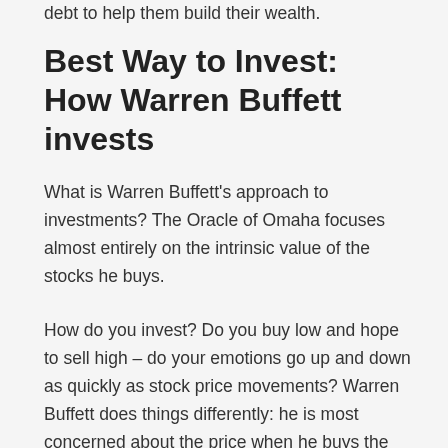debt to help them build their wealth.
Best Way to Invest: How Warren Buffett invests
What is Warren Buffett’s approach to investments? The Oracle of Omaha focuses almost entirely on the intrinsic value of the stocks he buys.
How do you invest? Do you buy low and hope to sell high – do your emotions go up and down as quickly as stock price movements? Warren Buffett does things differently: he is most concerned about the price when he buys the stock, but he pays much less attention to price afterwards. That is because he sees the intrinsic value of each stock he buys; he does not just buy shares – he